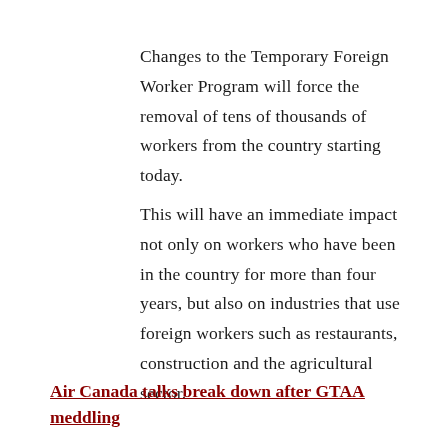Changes to the Temporary Foreign Worker Program will force the removal of tens of thousands of workers from the country starting today.
This will have an immediate impact not only on workers who have been in the country for more than four years, but also on industries that use foreign workers such as restaurants, construction and the agricultural sector.
Air Canada talks break down after GTAA meddling